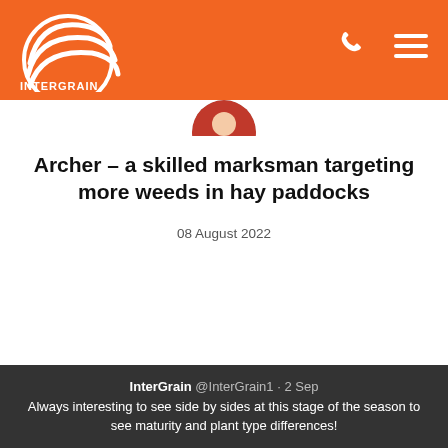InterGrain
[Figure (logo): InterGrain logo — white circular wave design with INTERGRAIN text]
Archer – a skilled marksman targeting more weeds in hay paddocks
08 August 2022
InterGrain @InterGrain1 · 2 Sep
Always interesting to see side by sides at this stage of the season to see maturity and plant type differences!